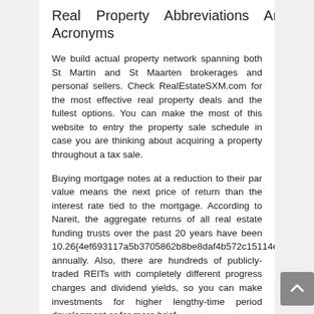Real Property Abbreviations And Acronyms
We build actual property network spanning both St Martin and St Maarten brokerages and personal sellers. Check RealEstateSXM.com for the most effective real property deals and the fullest options. You can make the most of this website to entry the property sale schedule in case you are thinking about acquiring a property throughout a tax sale.
Buying mortgage notes at a reduction to their par value means the next price of return than the interest rate tied to the mortgage. According to Nareit, the aggregate returns of all real estate funding trusts over the past 20 years have been 10.26{4ef693117a5b3705862b8be8daf4b572c15114e68c107a5ef7f767028d45ff35} annually. Also, there are hundreds of publicly-traded REITs with completely different progress charges and dividend yields, so you can make investments for higher lengthy-time period development or for more brief-